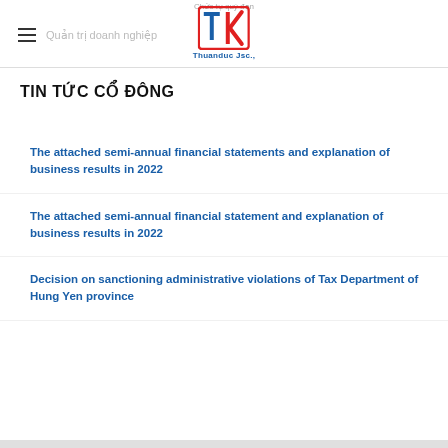Quản trị doanh nghiệp
TIN TỨC CỔ ĐÔNG
The attached semi-annual financial statements and explanation of business results in 2022
The attached semi-annual financial statement and explanation of business results in 2022
Decision on sanctioning administrative violations of Tax Department of Hung Yen province